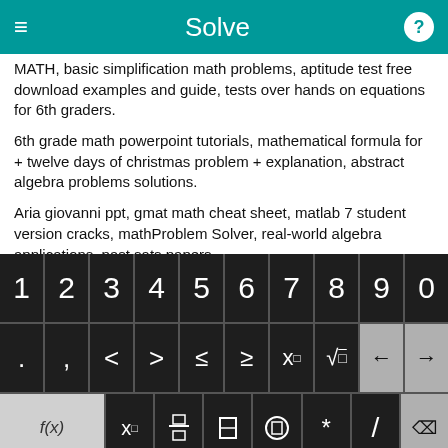Solve
MATH, basic simplification math problems, aptitude test free download examples and guide, tests over hands on equations for 6th graders.
6th grade math powerpoint tutorials, mathematical formula for + twelve days of christmas problem + explanation, abstract algebra problems solutions.
Aria giovanni ppt, gmat math cheat sheet, matlab 7 student version cracks, mathProblem Solver, real-world algebra applications, past sats papers.
[Figure (screenshot): Math keyboard with numeric keys 1-0, math symbols (<,>,≤,≥,x^□,√), function keys f(x), subscript x, fraction, absolute value, parentheses, operators, and a Solve! button]